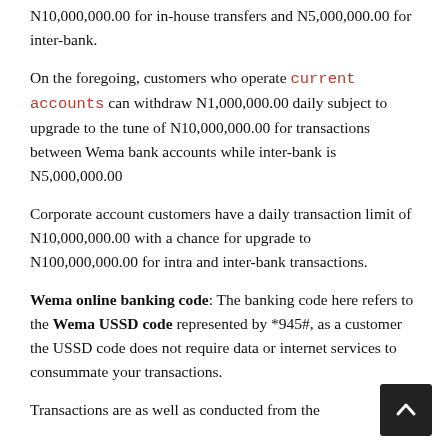N10,000,000.00 for in-house transfers and N5,000,000.00 for inter-bank.
On the foregoing, customers who operate current accounts can withdraw N1,000,000.00 daily subject to upgrade to the tune of N10,000,000.00 for transactions between Wema bank accounts while inter-bank is N5,000,000.00
Corporate account customers have a daily transaction limit of N10,000,000.00 with a chance for upgrade to N100,000,000.00 for intra and inter-bank transactions.
Wema online banking code: The banking code here refers to the Wema USSD code represented by *945#, as a customer the USSD code does not require data or internet services to consummate your transactions.
Transactions are as well as conducted from the